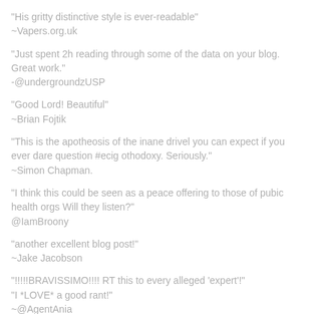"His gritty distinctive style is ever-readable"
~Vapers.org.uk
"Just spent 2h reading through some of the data on your blog. Great work."
-@undergroundzUSP
"Good Lord! Beautiful"
~Brian Fojtik
"This is the apotheosis of the inane drivel you can expect if you ever dare question #ecig othodoxy. Seriously."
~Simon Chapman.
"I think this could be seen as a peace offering to those of pubic health orgs Will they listen?"
@IamBroony
"another excellent blog post!"
~Jake Jacobson
"!!!!!BRAVISSIMO!!!! RT this to every alleged 'expert'!"
"I *LOVE* a good rant!"
~@AgentAnia
"Excellent! Must Read! Instructions for "Experts" on Vaping!"